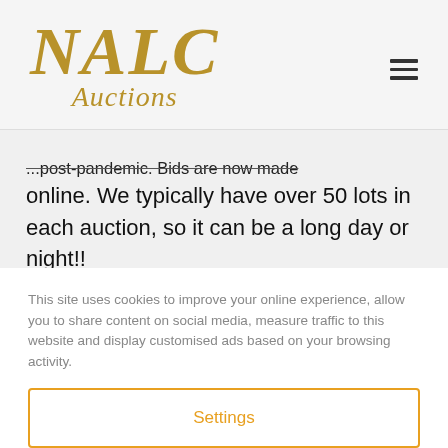[Figure (logo): NALC Auctions logo in gold italic serif font with hamburger menu icon]
...post-pandemic. Bids are now made online. We typically have over 50 lots in each auction, so it can be a long day or night!!
This site uses cookies to improve your online experience, allow you to share content on social media, measure traffic to this website and display customised ads based on your browsing activity.
Settings
Accept